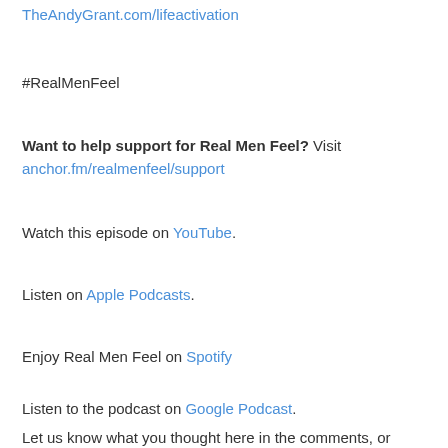TheAndyGrant.com/lifeactivation
#RealMenFeel
Want to help support for Real Men Feel? Visit anchor.fm/realmenfeel/support
Watch this episode on YouTube.
Listen on Apple Podcasts.
Enjoy Real Men Feel on Spotify
Listen to the podcast on Google Podcast.
Let us know what you thought here in the comments, or